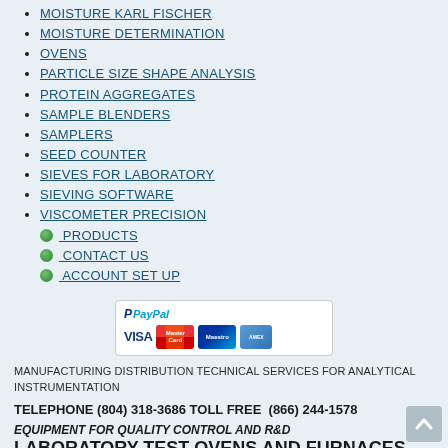MOISTURE KARL FISCHER
MOISTURE DETERMINATION
OVENS
PARTICLE SIZE SHAPE ANALYSIS
PROTEIN AGGREGATES
SAMPLE BLENDERS
SAMPLERS
SEED COUNTER
SIEVES FOR LABORATORY
SIEVING SOFTWARE
VISCOMETER PRECISION
PRODUCTS
CONTACT US
ACCOUNT SET UP
[Figure (logo): PayPal payment accepted logo showing PayPal text with VISA, MasterCard, Maestro, and American Express card logos]
MANUFACTURING DISTRIBUTION TECHNICAL SERVICES FOR ANALYTICAL INSTRUMENTATION
TELEPHONE (804) 318-3686 TOLL FREE  (866) 244-1578
EQUIPMENT FOR QUALITY CONTROL AND R&D
LABORATORY TEST OVENS AND FURNACES